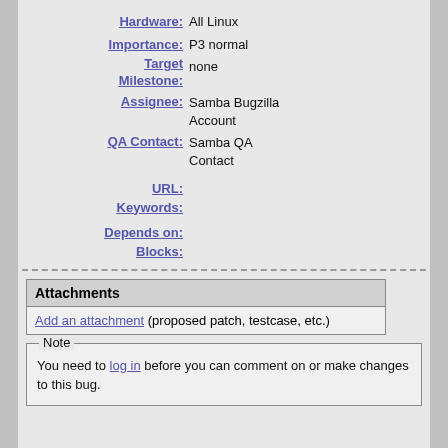Hardware: All Linux
Importance: P3 normal
Target Milestone: none
Assignee: Samba Bugzilla Account
QA Contact: Samba QA Contact
URL:
Keywords:
Depends on:
Blocks:
| Attachments |
| --- |
| Add an attachment (proposed patch, testcase, etc.) |
Note
You need to log in before you can comment on or make changes to this bug.